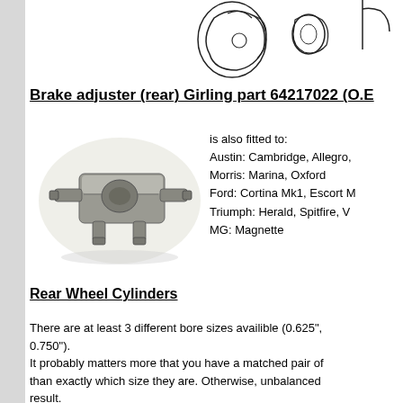[Figure (illustration): Top portion of technical line drawing showing brake component parts — partial view cropped at top of page]
Brake adjuster (rear) Girling part 64217022 (O.E...
[Figure (photo): Photograph of a metal brake adjuster component — Girling rear brake adjuster part 64217022, showing a cast metal piece with protruding studs]
is also fitted to:
Austin: Cambridge, Allegro,
Morris: Marina, Oxford
Ford: Cortina Mk1, Escort M...
Triumph: Herald, Spitfire, V...
MG: Magnette
Rear Wheel Cylinders
There are at least 3 different bore sizes availible (0.625", ... 0.750").
It probably matters more that you have a matched pair of... than exactly which size they are. Otherwise, unbalanced... result.